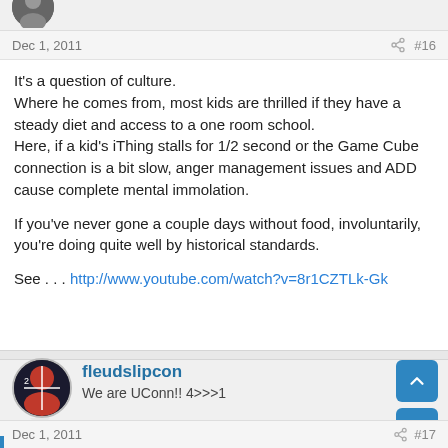[Figure (photo): Partial avatar image at top of page, cropped]
Dec 1, 2011  #16
It's a question of culture.
Where he comes from, most kids are thrilled if they have a steady diet and access to a one room school.
Here, if a kid's iThing stalls for 1/2 second or the Game Cube connection is a bit slow, anger management issues and ADD cause complete mental immolation.

If you've never gone a couple days without food, involuntarily, you're doing quite well by historical standards.

See . . . http://www.youtube.com/watch?v=8r1CZTLk-Gk
[Figure (photo): User avatar for fleudslipcon - basketball player photo]
fleudslipcon
We are UConn!! 4>>>1
Dec 1, 2011  #17